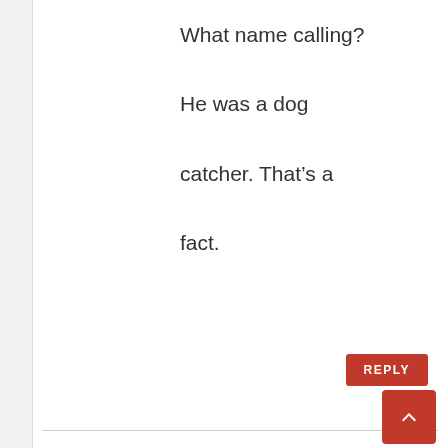What name calling? He was a dog catcher. That's a fact.
mateo says:
October 11, 2012 at 1:16 pm
Cook, yes that restaurant on Fifth and Broadway has been replaced by the new restaurant that I was referring too with the kick